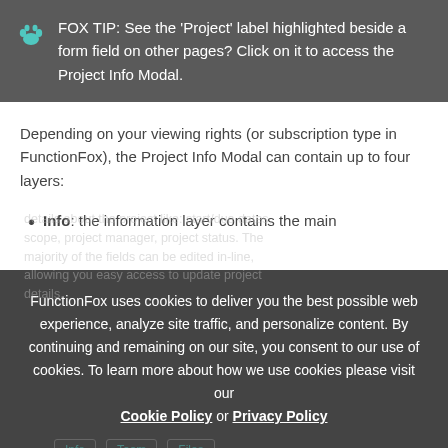FOX TIP: See the 'Project' label highlighted beside a form field on other pages? Click on it to access the Project Info Modal.
Depending on your viewing rights (or subscription type in FunctionFox), the Project Info Modal can contain up to four layers:
Info: the information layer contains the main
FunctionFox uses cookies to deliver you the best possible web experience, analyze site traffic, and personalize content. By continuing and remaining on our site, you consent to our use of cookies. To learn more about how we use cookies please visit our Cookie Policy or Privacy Policy